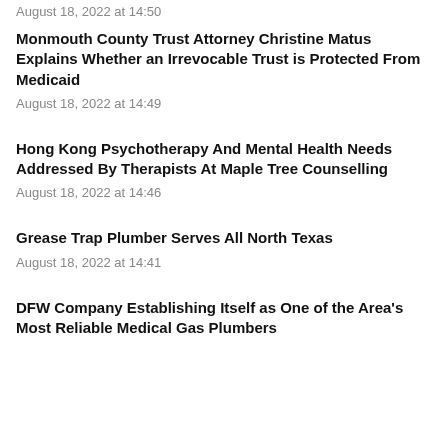August 18, 2022 at 14:50
Monmouth County Trust Attorney Christine Matus Explains Whether an Irrevocable Trust is Protected From Medicaid
August 18, 2022 at 14:49
Hong Kong Psychotherapy And Mental Health Needs Addressed By Therapists At Maple Tree Counselling
August 18, 2022 at 14:46
Grease Trap Plumber Serves All North Texas
August 18, 2022 at 14:41
DFW Company Establishing Itself as One of the Area's Most Reliable Medical Gas Plumbers